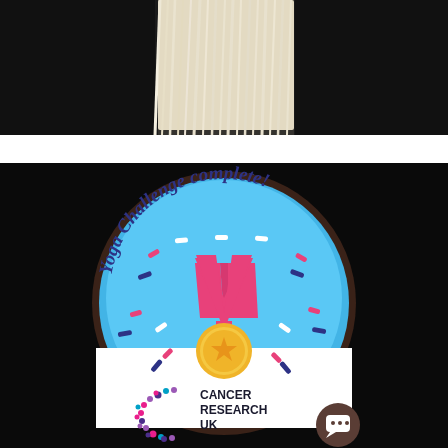[Figure (photo): Top portion: close-up photo of white/cream fluffy fur (dog or similar animal) against a black background.]
[Figure (illustration): Badge/sticker illustration on black background: circular badge with dark brown border, blue background, text 'Yoga Challenge complete!' arched at top in dark blue italic font. Center shows a pink ribbon medal with gold circular medallion containing a star. Colorful confetti sprinkles surround the medal. Bottom white section contains Cancer Research UK logo (colorful dotted 'C' mark) and text 'CANCER RESEARCH UK'. A dark circular chat bubble icon appears in the bottom right.]